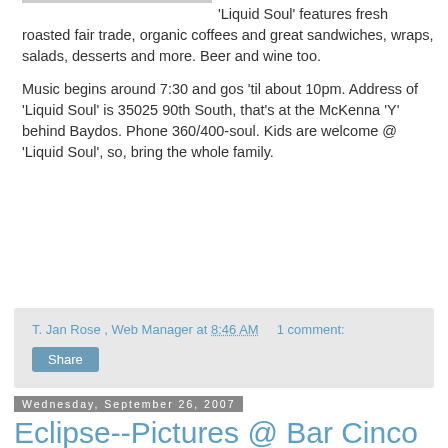'Liquid Soul' features fresh roasted fair trade, organic coffees and great sandwiches, wraps, salads, desserts and more. Beer and wine too.

Music begins around 7:30 and gos 'til about 10pm. Address of 'Liquid Soul' is 35025 90th South, that's at the McKenna 'Y' behind Baydos. Phone 360/400-soul. Kids are welcome @ 'Liquid Soul', so, bring the whole family.
T. Jan Rose , Web Manager at 8:46 AM    1 comment:
Share
Wednesday, September 26, 2007
Eclipse--Pictures @ Bar Cinco